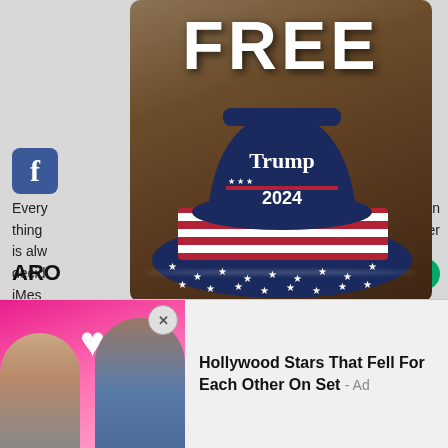[Figure (screenshot): Screenshot of a webpage with overlaid advertisement. Top portion shows a 'FREE Trump 2024 bucket hat' ad with large white 'FREE' text over a dark brown/flag background, showing a patriotic bucket hat with stars and stripes design and 'Trump 2024' embroidery. Behind the ad, partially visible Facebook icon and page text fragments ('can', 'swer', 'Every', 'thing', 'is alw', 'decid', 'iMes') are visible. Bottom portion shows a second ad for 'Hollywood Stars That Fell For Each Other On Set' with a pink background photo of a couple and a heart icon. A close (X) button is visible between the two ads.]
Hollywood Stars That Fell For Each Other On Set - Ad